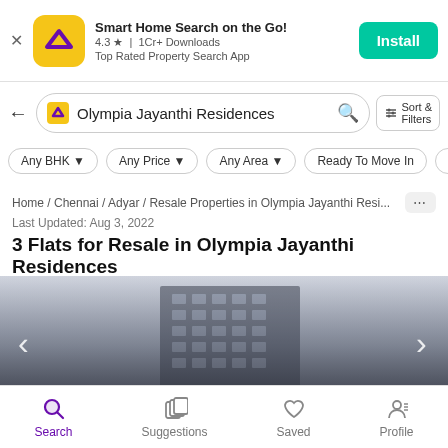[Figure (screenshot): App install ad banner for a property search app. Yellow icon with purple chevron logo, title 'Smart Home Search on the Go!', rating 4.3, 1Cr+ Downloads, Top Rated Property Search App. Green Install button on right.]
Smart Home Search on the Go!
4.3 ★ | 1Cr+ Downloads
Top Rated Property Search App
Olympia Jayanthi Residences
Any BHK  Any Price  Any Area  Ready To Move In  Owner
Home / Chennai / Adyar / Resale Properties in Olympia Jayanthi Resi... ···
Last Updated: Aug 3, 2022
3 Flats for Resale in Olympia Jayanthi Residences
[Figure (photo): Photo of a multi-storey residential building (Olympia Jayanthi Residences), grey tone, with navigation arrows on sides and partial text label at bottom.]
Search  Suggestions  Saved  Profile